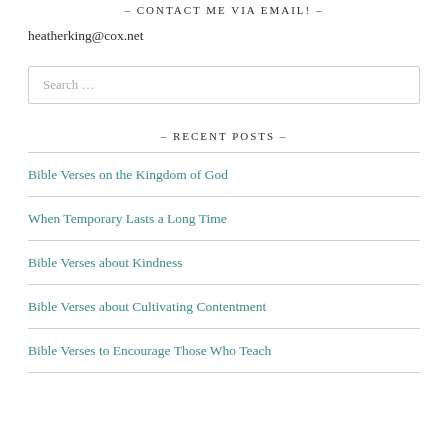- CONTACT ME VIA EMAIL! -
heatherking@cox.net
Search ...
- RECENT POSTS -
Bible Verses on the Kingdom of God
When Temporary Lasts a Long Time
Bible Verses about Kindness
Bible Verses about Cultivating Contentment
Bible Verses to Encourage Those Who Teach